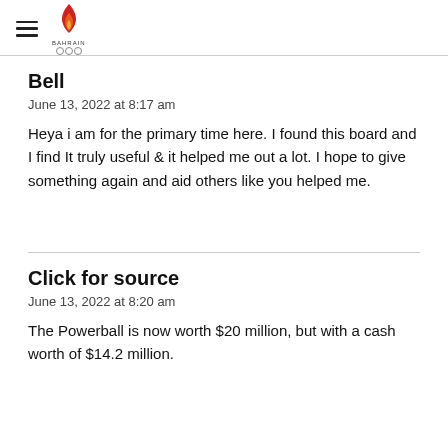Bahrain Olympic Committee
Bell
June 13, 2022 at 8:17 am
Heya i am for the primary time here. I found this board and I find It truly useful & it helped me out a lot. I hope to give something again and aid others like you helped me.
Click for source
June 13, 2022 at 8:20 am
The Powerball is now worth $20 million, but with a cash worth of $14.2 million.